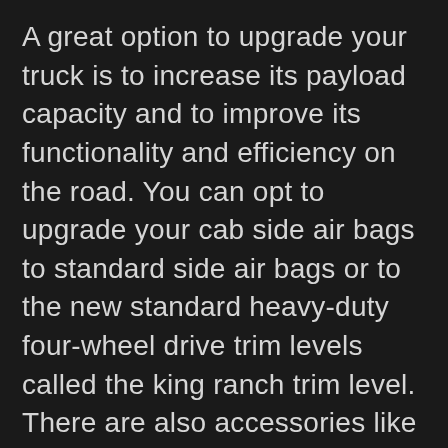A great option to upgrade your truck is to increase its payload capacity and to improve its functionality and efficiency on the road. You can opt to upgrade your cab side air bags to standard side air bags or to the new standard heavy-duty four-wheel drive trim levels called the king ranch trim level. There are also accessories like a replacement roof rack kit or a replacement grill, which could be installed to improve [passenger safety]...